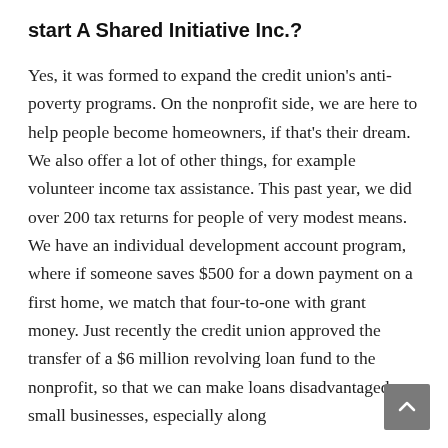start A Shared Initiative Inc.?
Yes, it was formed to expand the credit union's anti-poverty programs. On the nonprofit side, we are here to help people become homeowners, if that's their dream. We also offer a lot of other things, for example volunteer income tax assistance. This past year, we did over 200 tax returns for people of very modest means. We have an individual development account program, where if someone saves $500 for a down payment on a first home, we match that four-to-one with grant money. Just recently the credit union approved the transfer of a $6 million revolving loan fund to the nonprofit, so that we can make loans disadvantaged small businesses, especially along the San Clemente corridor.